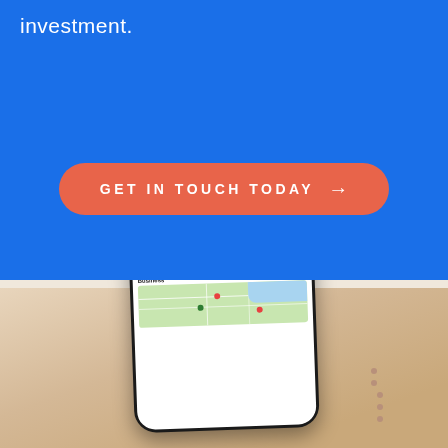investment.
GET IN TOUCH TODAY →
[Figure (photo): Hand holding a smartphone displaying Google search results for 'sutherland shire business', showing results including Sutherland Shire Business Chamber and Business - Sutherland Shire Council, with a map section at the bottom]